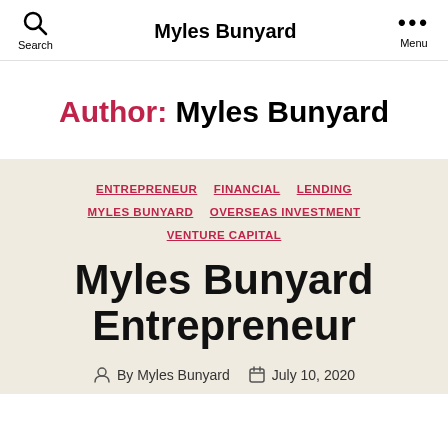Myles Bunyard
Author: Myles Bunyard
ENTREPRENEUR  FINANCIAL  LENDING  MYLES BUNYARD  OVERSEAS INVESTMENT  VENTURE CAPITAL
Myles Bunyard Entrepreneur
By Myles Bunyard  July 10, 2020